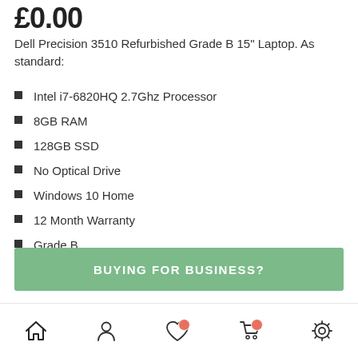£0.00
Dell Precision 3510 Refurbished Grade B 15" Laptop. As standard:
Intel i7-6820HQ 2.7Ghz Processor
8GB RAM
128GB SSD
No Optical Drive
Windows 10 Home
12 Month Warranty
Grade B
BUYING FOR BUSINESS?
Navigation bar with home, profile, wishlist, cart, settings icons